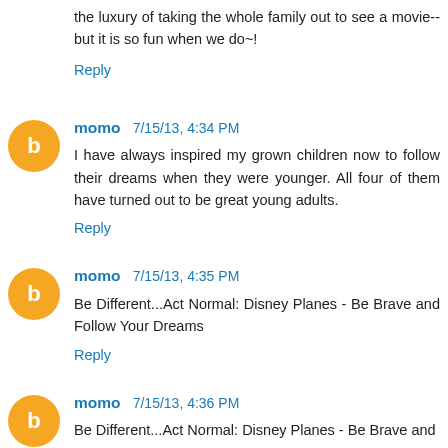the luxury of taking the whole family out to see a movie--but it is so fun when we do~!
Reply
momo 7/15/13, 4:34 PM
I have always inspired my grown children now to follow their dreams when they were younger. All four of them have turned out to be great young adults.
Reply
momo 7/15/13, 4:35 PM
Be Different...Act Normal: Disney Planes - Be Brave and Follow Your Dreams
Reply
momo 7/15/13, 4:36 PM
Be Different...Act Normal: Disney Planes - Be Brave and